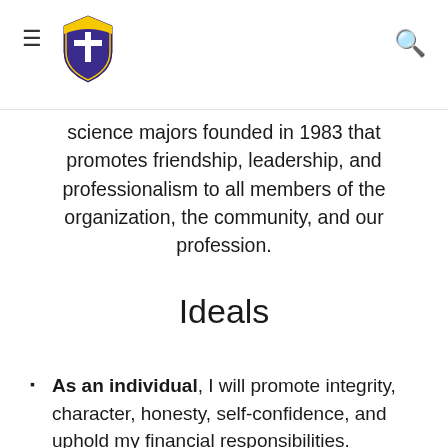≡ [shield logo] 🔍
science majors founded in 1983 that promotes friendship, leadership, and professionalism to all members of the organization, the community, and our profession.
Ideals
As an individual, I will promote integrity, character, honesty, self-confidence, and uphold my financial responsibilities.